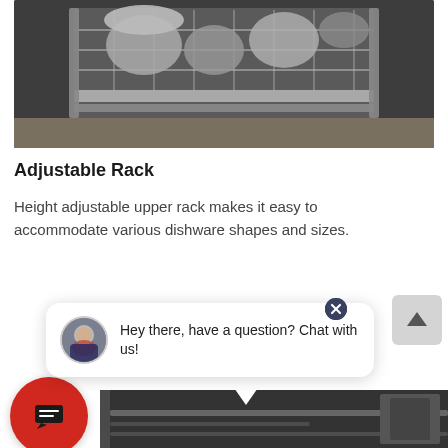[Figure (photo): Dishwasher upper rack with metallic cookware and dishes visible, dark background, stainless steel rack]
Adjustable Rack
Height adjustable upper rack makes it easy to accommodate various dishware shapes and sizes.
[Figure (screenshot): Chat widget popup showing avatar of male employee, text 'Hey there, have a question? Chat with us!', close button, red chat icon button, and back-to-top button]
[Figure (photo): Bottom portion of dishwasher interior showing dark tub and rack mechanism]